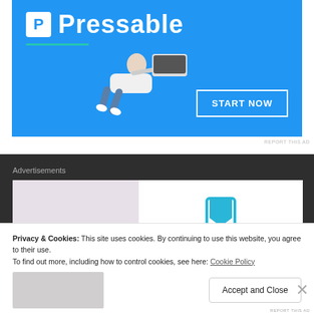[Figure (screenshot): Pressable web hosting advertisement banner on blue background with flying person holding laptop and START NOW button]
REPORT THIS AD
Advertisements
[Figure (screenshot): Advertisement in dark section showing partial ad with bookmark icon on right side]
Privacy & Cookies: This site uses cookies. By continuing to use this website, you agree to their use.
To find out more, including how to control cookies, see here: Cookie Policy
Accept and Close